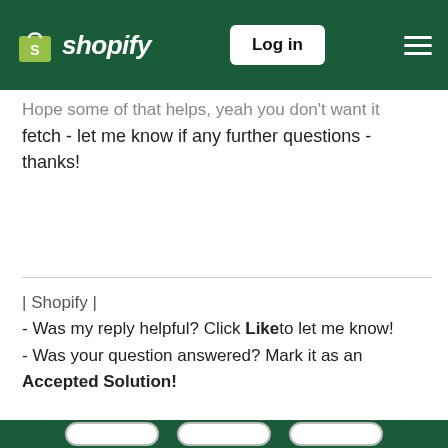Shopify — Log in
Hope some of that helps, yeah you don't want it fetch - let me know if any further questions - thanks!
| Shopify |
- Was my reply helpful? Click Like to let me know!
- Was your question answered? Mark it as an Accepted Solution!